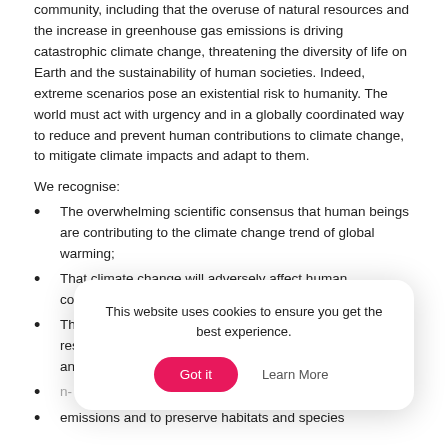community, including that the overuse of natural resources and the increase in greenhouse gas emissions is driving catastrophic climate change, threatening the diversity of life on Earth and the sustainability of human societies. Indeed, extreme scenarios pose an existential risk to humanity. The world must act with urgency and in a globally coordinated way to reduce and prevent human contributions to climate change, to mitigate climate impacts and adapt to them.
We recognise:
The overwhelming scientific consensus that human beings are contributing to the climate change trend of global warming;
That climate change will adversely affect human communities, non-human animals and natural ecosystems;
The threat to ecosystems caused by land-use and resource extraction, including commercial deforestation and
[partially obscured by cookie banner] ...n-
emissions and to preserve habitats and species
This website uses cookies to ensure you get the best experience.